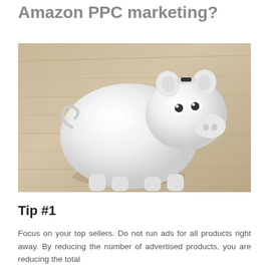Amazon PPC marketing?
[Figure (photo): White ceramic piggy bank sitting on a wooden surface, photographed from a front-angled view.]
Tip #1
Focus on your top sellers. Do not run ads for all products right away. By reducing the number of advertised products, you are reducing the total